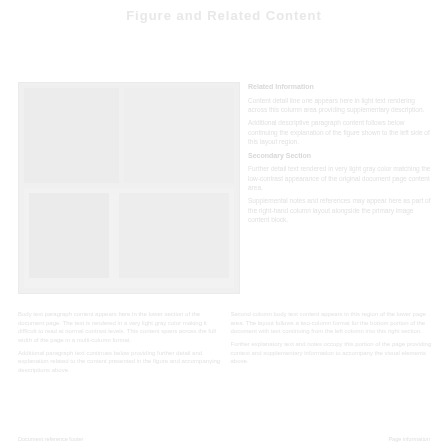Figure and Related Content
[Figure (photo): A faded/low-contrast image or photograph occupying the left portion of the page, details not discernible due to very low contrast.]
Related descriptive text content appearing to the right of the image, rendered in very light gray, details not legible.
Additional body text content appearing below the image and right-side text, spread across the full width in multiple columns, rendered in very light gray.
Footer information